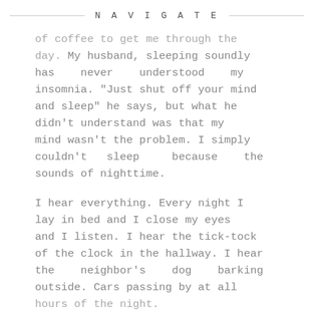NAVIGATE
of coffee to get me through the day. My husband, sleeping soundly has never understood my insomnia. "Just shut off your mind and sleep" he says, but what he didn't understand was that my mind wasn't the problem. I simply couldn't sleep because the sounds of nighttime.
I hear everything. Every night I lay in bed and I close my eyes and I listen. I hear the tick-tock of the clock in the hallway. I hear the neighbor's dog barking outside. Cars passing by at all hours of the night.